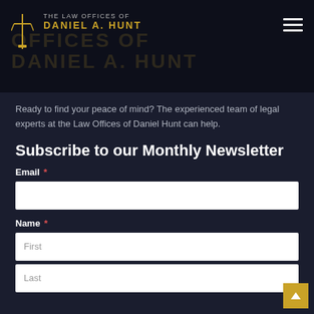The Law Offices of Daniel A. Hunt
Ready to find your peace of mind? The experienced team of legal experts at the Law Offices of Daniel Hunt can help.
Subscribe to our Monthly Newsletter
Email *
Name *
First
Last